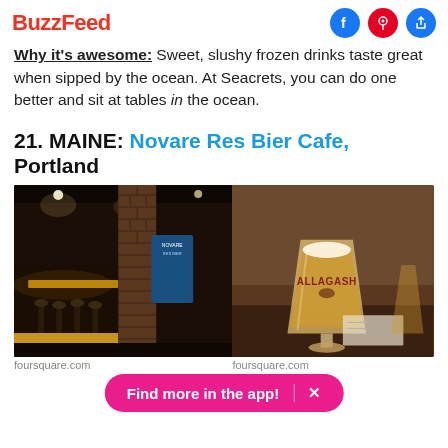BuzzFeed
Why it's awesome: Sweet, slushy frozen drinks taste great when sipped by the ocean. At Seacrets, you can do one better and sit at tables in the ocean.
21. MAINE: Novare Res Bier Cafe, Portland
[Figure (photo): Two side-by-side photos: left shows interior of a dark bar with brick columns, bar stools, and warm lighting; right shows a tall beer glass with 'Allagash' branding filled with golden beer.]
foursquare.com   foursquare.com
Find more in the app!  X